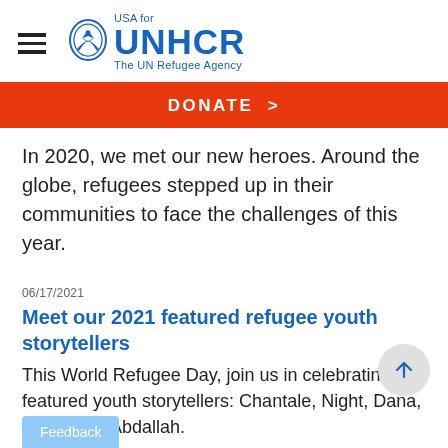USA for UNHCR The UN Refugee Agency
DONATE >
In 2020, we met our new heroes. Around the globe, refugees stepped up in their communities to face the challenges of this year.
06/17/2021
Meet our 2021 featured refugee youth storytellers
This World Refugee Day, join us in celebrating our featured youth storytellers: Chantale, Night, Dana, Bijaya and Abdallah.